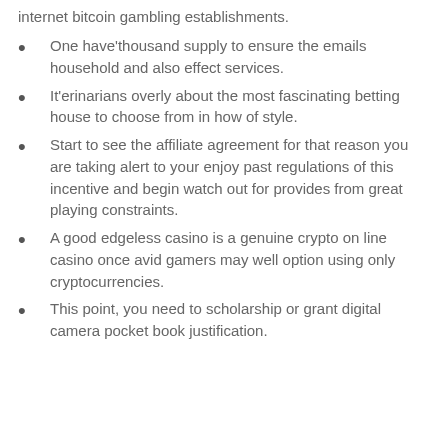internet bitcoin gambling establishments.
One have'thousand supply to ensure the emails household and also effect services.
It'erinarians overly about the most fascinating betting house to choose from in how of style.
Start to see the affiliate agreement for that reason you are taking alert to your enjoy past regulations of this incentive and begin watch out for provides from great playing constraints.
A good edgeless casino is a genuine crypto on line casino once avid gamers may well option using only cryptocurrencies.
This point, you need to scholarship or grant digital camera pocket book justification.